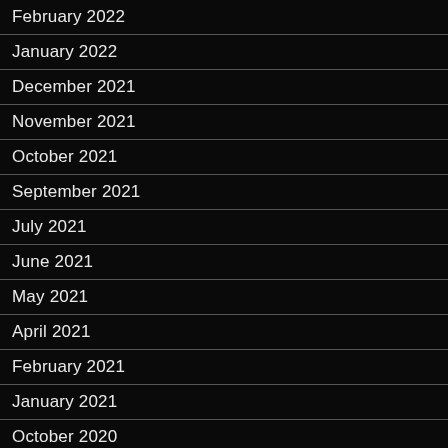February 2022
January 2022
December 2021
November 2021
October 2021
September 2021
July 2021
June 2021
May 2021
April 2021
February 2021
January 2021
October 2020